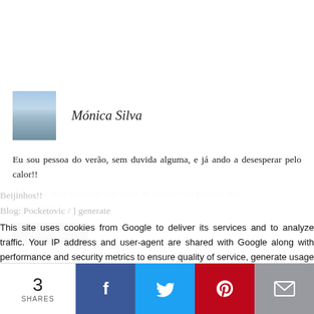[Figure (photo): Small profile photo thumbnail of Monica Silva, a woman in a white off-shoulder top outdoors]
Mónica Silva
Eu sou pessoa do verão, sem duvida alguma, e já ando a desesperar pelo calor!!
Adorei as tuas escolhas mas amei as calças com pérolas, são super giras!!
Beijinhos!!
Blog: Pocketovic / ] generate
This site uses cookies from Google to deliver its services and to analyze traffic. Your IP address and user-agent are shared with Google along with performance and security metrics to ensure quality of service, generate usage statistics, and to detect and address abuse.
Responder
3
SHARES